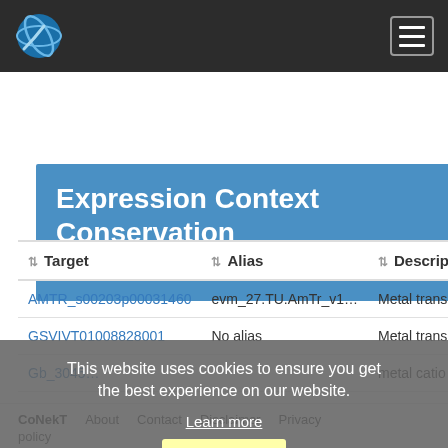CoNekT — navigation bar with logo and hamburger menu
Expression Context Conservation (ECC)
| Target | Alias | Descrip… |
| --- | --- | --- |
| AMTR_s00203p00031460 | evm_27.TU.AmTr_v1… | Metal trans… |
| GSVIVT01008828001 | No alias | Metal trans… |
| Gb_3045… | … | metal catio… |
| LOC_Os03g11010.1 | No alias | metal catio… |
| MA_10038236g0010 | No alias | No annota… |
| MA_10430197g0030 | No alias | metal catio… |
This website uses cookies to ensure you get the best experience on our website. Learn more
CoNekT  About  Contact  Disclaimer  Privacy policy